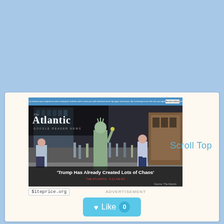[Figure (screenshot): Screenshot of The Atlantic website showing a street photo with a Statue of Liberty performer and the headline 'Trump Has Already Created Lots of Chaos']
Scroll Top
$iteprice.org
Like  0